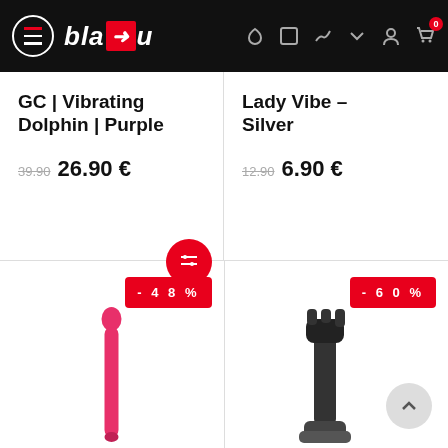bla4u — e-commerce navigation header
GC | Vibrating Dolphin | Purple
39.90  26.90 €
Lady Vibe – Silver
12.90  6.90 €
[Figure (photo): Pink vibrating toy product image with -48% discount badge]
[Figure (photo): Dark/black vibrating toy product image with -60% discount badge]